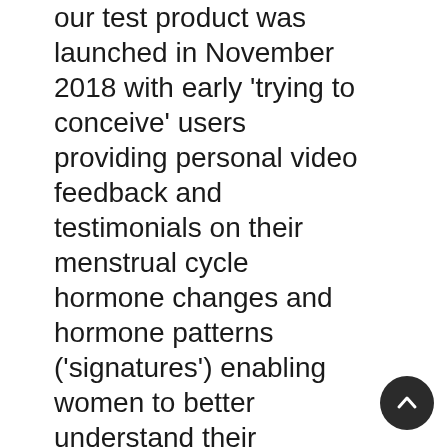our test product was launched in November 2018 with early 'trying to conceive' users providing personal video feedback and testimonials on their menstrual cycle hormone changes and hormone patterns ('signatures') enabling women to better understand their menstrual cycle and fertility journey (www.mylotus.com).
The supply agreement represents the first commercial partnership forming part of the